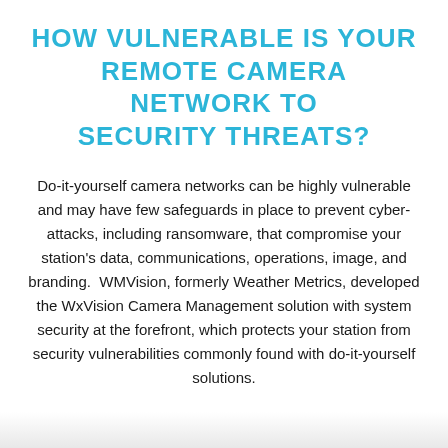HOW VULNERABLE IS YOUR REMOTE CAMERA NETWORK TO SECURITY THREATS?
Do-it-yourself camera networks can be highly vulnerable and may have few safeguards in place to prevent cyber-attacks, including ransomware, that compromise your station's data, communications, operations, image, and branding. WMVision, formerly Weather Metrics, developed the WxVision Camera Management solution with system security at the forefront, which protects your station from security vulnerabilities commonly found with do-it-yourself solutions.